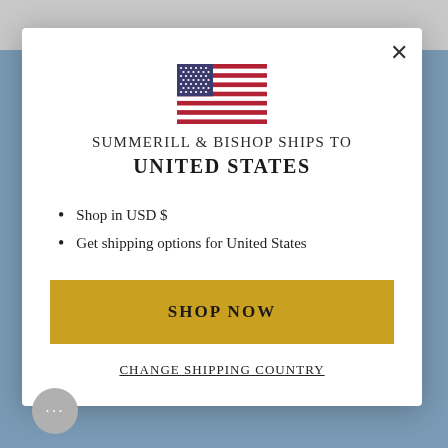[Figure (illustration): US flag SVG illustration centered in modal]
SUMMERILL & BISHOP SHIPS TO
UNITED STATES
Shop in USD $
Get shipping options for United States
SHOP NOW
CHANGE SHIPPING COUNTRY